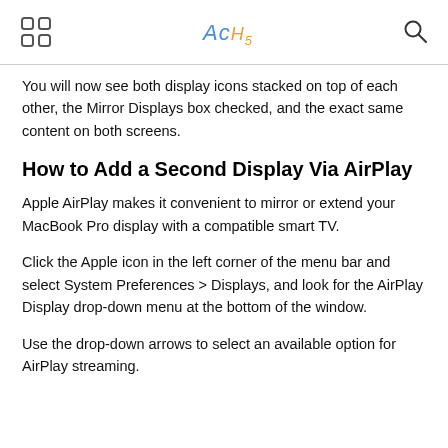AcHs
You will now see both display icons stacked on top of each other, the Mirror Displays box checked, and the exact same content on both screens.
How to Add a Second Display Via AirPlay
Apple AirPlay makes it convenient to mirror or extend your MacBook Pro display with a compatible smart TV.
Click the Apple icon in the left corner of the menu bar and select System Preferences > Displays, and look for the AirPlay Display drop-down menu at the bottom of the window.
Use the drop-down arrows to select an available option for AirPlay streaming.